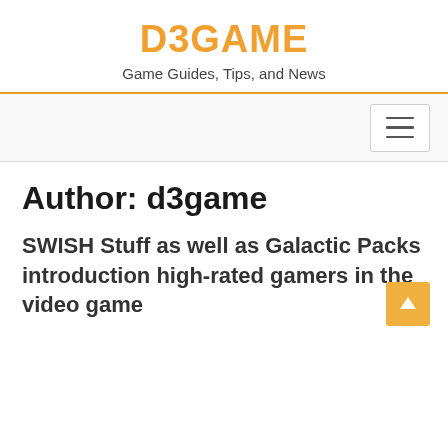D3GAME
Game Guides, Tips, and News
[Figure (other): Hamburger menu icon button in navigation bar]
Author: d3game
SWISH Stuff as well as Galactic Packs introduction high-rated gamers in the video game